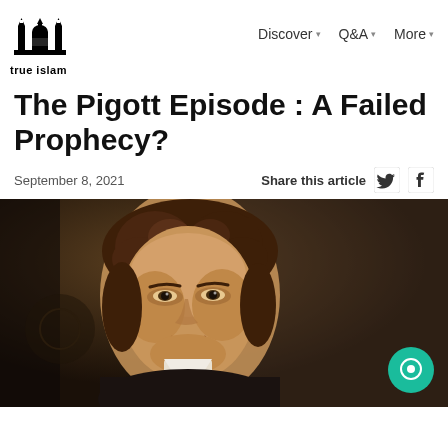true islam | Discover | Q&A | More
The Pigott Episode : A Failed Prophecy?
September 8, 2021   Share this article
[Figure (photo): Portrait painting of a man with curly brown hair wearing a dark coat with white collar, classical painted style with dark background]